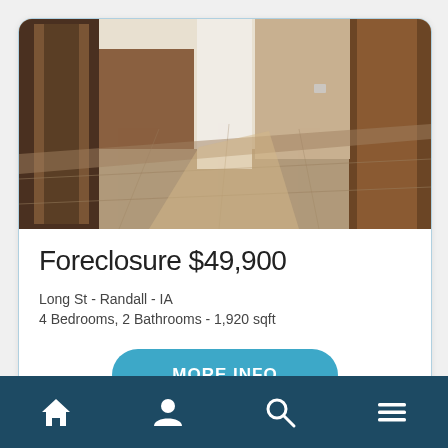[Figure (photo): Interior photo of an empty room with bare concrete floor, white walls, and wooden door frames/garage doors visible on the sides. Natural light coming through openings.]
Foreclosure $49,900
Long St - Randall - IA
4 Bedrooms, 2 Bathrooms - 1,920 sqft
MORE INFO
Navigation bar with home, profile, search, and menu icons